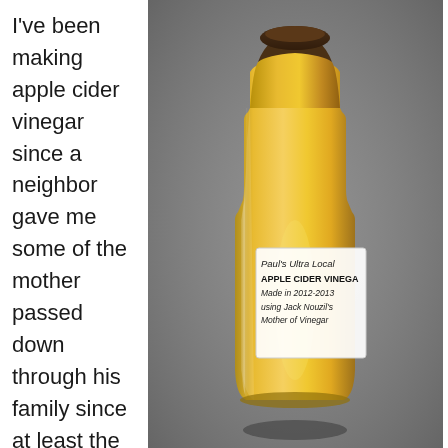I've been making apple cider vinegar since a neighbor gave me some of the mother passed down through his family since at least the 19th Century.
[Figure (photo): A clear glass bottle filled with golden-amber apple cider vinegar, capped with a dark brown cap. The bottle has a white handwritten label reading: Paul's Ultra Local APPLE CIDER VINEGAR Made in 2012-2013 using Jack Nouzil's Mother of Vinegar. The bottle is photographed against a gray surface.]